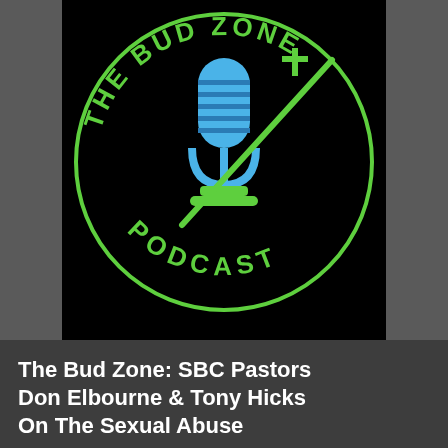[Figure (logo): The Bud Zone Podcast logo: circular green outline with text 'THE BUD ZONE' on top arc and 'PODCAST' on bottom arc in green, featuring a blue microphone icon in the center with a green swoosh/lightning bolt and a cross symbol, on a black background.]
The Bud Zone: SBC Pastors Don Elbourne & Tony Hicks On The Sexual Abuse